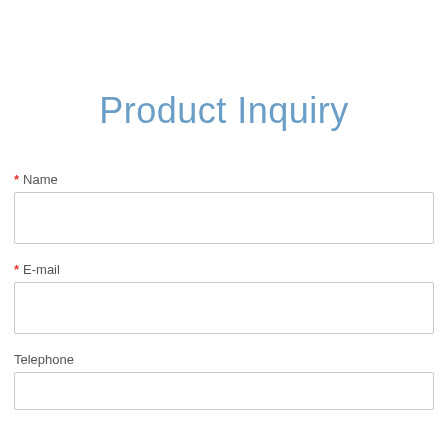Product Inquiry
* Name
* E-mail
Telephone